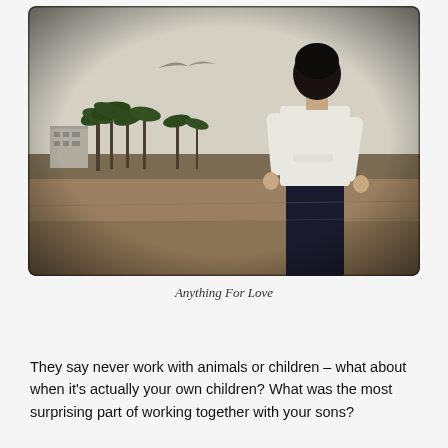[Figure (photo): A young boy with dark hair, wearing a white t-shirt and dark jeans, standing on a sandy beach or field with his back to the camera. A bird is flying in the overcast sky to the left. Palm trees and a building are visible in the distant background. The photo has a muted, sepia-toned aesthetic with rounded corners.]
Anything For Love
They say never work with animals or children – what about when it's actually your own children? What was the most surprising part of working together with your sons?